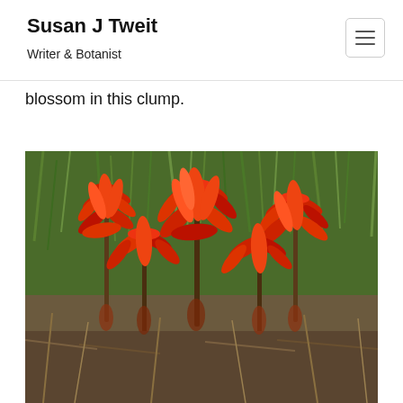Susan J Tweit — Writer & Botanist
blossom in this clump.
[Figure (photo): Close-up photograph of bright red Indian paintbrush (Castilleja) flowers in bloom, with green grass and foliage in the background.]